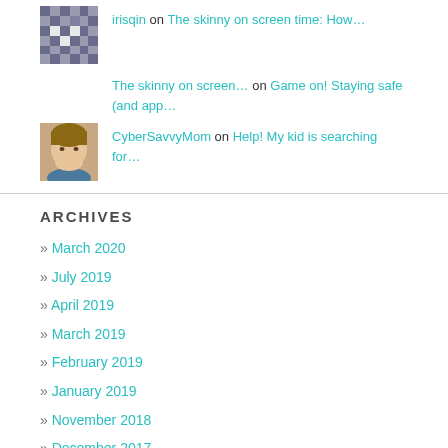irisqin on The skinny on screen time: How…
The skinny on screen… on Game on! Staying safe (and app…
[Figure (photo): Profile photo of a woman smiling, used as comment avatar]
CyberSavvyMom on Help! My kid is searching for…
ARCHIVES
March 2020
July 2019
April 2019
March 2019
February 2019
January 2019
November 2018
December 2017